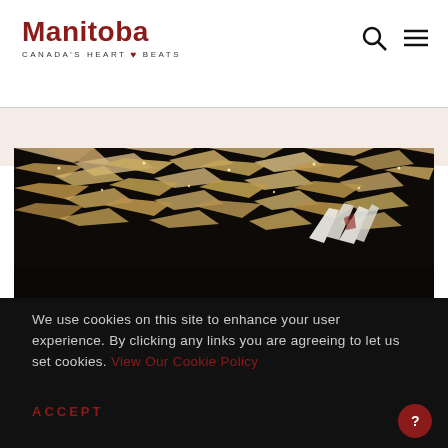[Figure (logo): Manitoba Canada's Heart Beats logo with red maple leaf]
[Figure (photo): Interior architectural photo showing geometric ceiling with angular white/beige panels and pendant lights in dark space, with white sculptural figures in foreground]
We use cookies on this site to enhance your user experience. By clicking any links you are agreeing to let us set cookies. View Our Cookie Policy
ACCEPT